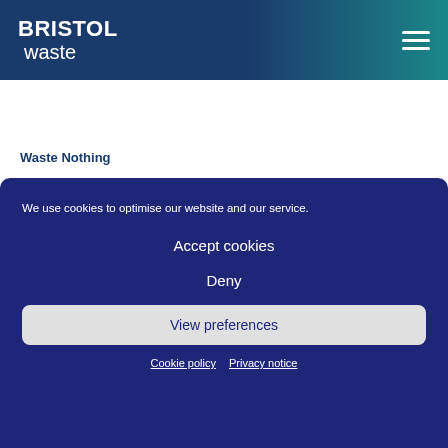BRISTOL waste
Waste Nothing
We use cookies to optimise our website and our service.
Accept cookies
Deny
View preferences
Cookie policy   Privacy notice